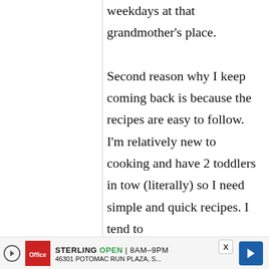weekdays at that grandmother's place. Second reason why I keep coming back is because the recipes are easy to follow. I'm relatively new to cooking and have 2 toddlers in tow (literally) so I need simple and quick recipes. I tend to
[Figure (other): Advertisement banner for Sterling Office Depot store showing logo, OPEN 8AM-9PM, address 46301 Potomac Run Plaza S..., and navigation arrow icon]